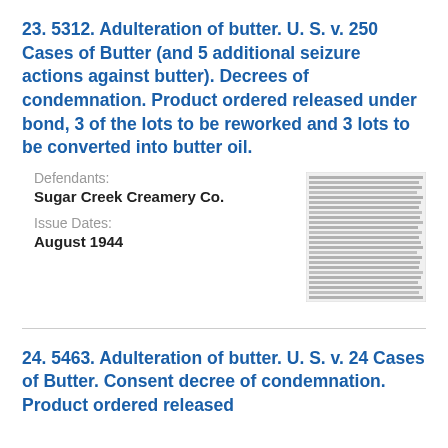23. 5312. Adulteration of butter. U. S. v. 250 Cases of Butter (and 5 additional seizure actions against butter). Decrees of condemnation. Product ordered released under bond, 3 of the lots to be reworked and 3 lots to be converted into butter oil.
Defendants: Sugar Creek Creamery Co.
Issue Dates: August 1944
[Figure (other): Thumbnail image of a document page showing dense text, too small to read.]
24. 5463. Adulteration of butter. U. S. v. 24 Cases of Butter. Consent decree of condemnation. Product ordered released